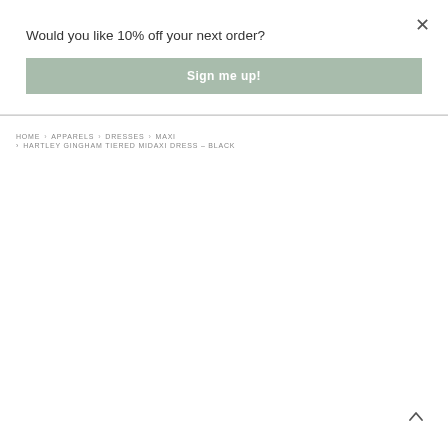×
Would you like 10% off your next order?
Sign me up!
HOME › APPARELS › DRESSES › MAXI › HARTLEY GINGHAM TIERED MIDAXI DRESS – BLACK